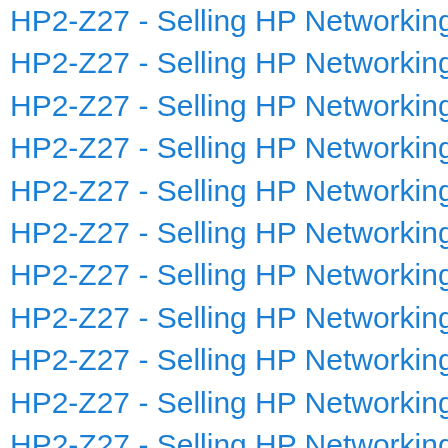HP2-Z27 - Selling HP Networking Solutio
HP2-Z27 - Selling HP Networking Solutio
HP2-Z27 - Selling HP Networking Solutio
HP2-Z27 - Selling HP Networking Solutio
HP2-Z27 - Selling HP Networking Solutio
HP2-Z27 - Selling HP Networking Solutio
HP2-Z27 - Selling HP Networking Solutio
HP2-Z27 - Selling HP Networking Solutio
HP2-Z27 - Selling HP Networking Solutio
HP2-Z27 - Selling HP Networking Solutio
HP2-Z27 - Selling HP Networking Solutio
HP2-Z27 - Selling HP Networking Solutio
HP2-Z27 - Selling HP Networking Solutio